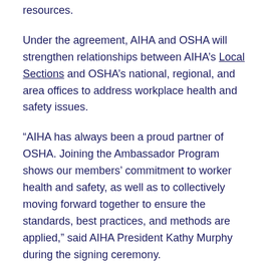resources.
Under the agreement, AIHA and OSHA will strengthen relationships between AIHA's Local Sections and OSHA's national, regional, and area offices to address workplace health and safety issues.
“AIHA has always been a proud partner of OSHA. Joining the Ambassador Program shows our members’ commitment to worker health and safety, as well as to collectively moving forward together to ensure the standards, best practices, and methods are applied,” said AIHA President Kathy Murphy during the signing ceremony.